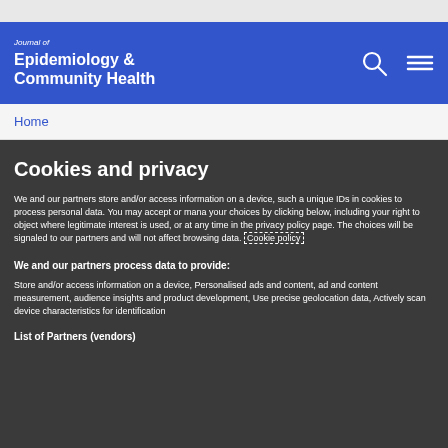Journal of Epidemiology & Community Health
Home
Cookies and privacy
We and our partners store and/or access information on a device, such as unique IDs in cookies to process personal data. You may accept or manage your choices by clicking below, including your right to object where legitimate interest is used, or at any time in the privacy policy page. These choices will be signaled to our partners and will not affect browsing data. Cookie policy
We and our partners process data to provide:
Store and/or access information on a device, Personalised ads and content, ad and content measurement, audience insights and product development, Use precise geolocation data, Actively scan device characteristics for identification
List of Partners (vendors)